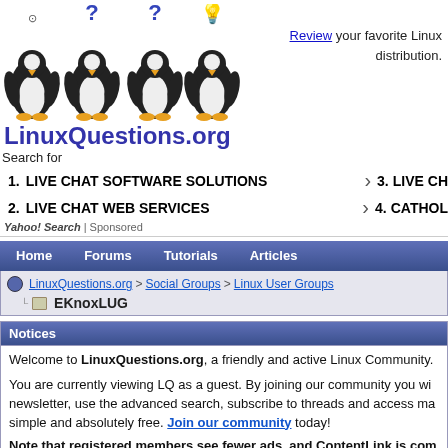[Figure (logo): LinuxQuestions.org logo with four Tux penguins with question marks and a lightbulb above them, and the text LinuxQuestions.org in blue]
Review your favorite Linux distribution.
Search for
1. LIVE CHAT SOFTWARE SOLUTIONS
2. LIVE CHAT WEB SERVICES
3. LIVE CH...
4. CATHOL...
Yahoo! Search | Sponsored
Home   Forums   Tutorials   Articles
LinuxQuestions.org > Social Groups > Linux User Groups
EKnoxLUG
Notices
Welcome to LinuxQuestions.org, a friendly and active Linux Community.
You are currently viewing LQ as a guest. By joining our community you will newsletter, use the advanced search, subscribe to threads and access ma simple and absolutely free. Join our community today!
Note that registered members see fewer ads, and ContentLink is com